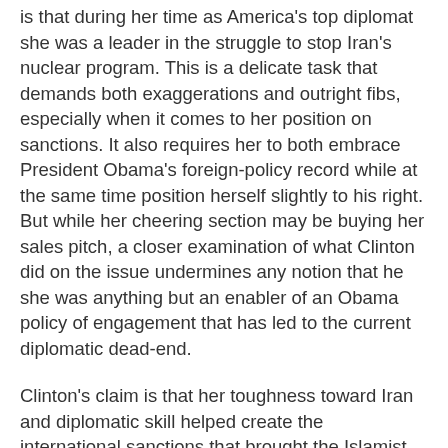is that during her time as America's top diplomat she was a leader in the struggle to stop Iran's nuclear program. This is a delicate task that demands both exaggerations and outright fibs, especially when it comes to her position on sanctions. It also requires her to both embrace President Obama's foreign-policy record while at the same time position herself slightly to his right. But while her cheering section may be buying her sales pitch, a closer examination of what Clinton did on the issue undermines any notion that he she was anything but an enabler of an Obama policy of engagement that has led to the current diplomatic dead-end.
Clinton's claim is that her toughness toward Iran and diplomatic skill helped create the international sanctions that brought the Islamist regime to the negotiating table. Though she expressed some skepticism about Iran's willingness to listen to reason, the former first lady endorsed the interim nuclear deal signed by her successor and agreed with Obama's opposition to the passage of any more sanctions even if they would not be put into effect until after the current talks fail. But it's no small irony that Clinton would be bragging about her tough stand on Iran in the same week that the bb was with Russia's debt to the sba and is any will